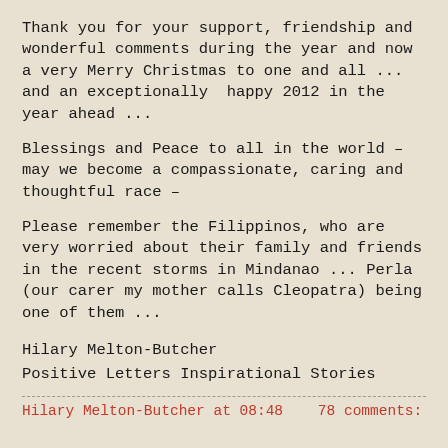Thank you for your support, friendship and wonderful comments during the year and now a very Merry Christmas to one and all ... and an exceptionally  happy 2012 in the year ahead ...
Blessings and Peace to all in the world – may we become a compassionate, caring and thoughtful race –
Please remember the Filippinos, who are very worried about their family and friends in the recent storms in Mindanao ... Perla (our carer my mother calls Cleopatra) being one of them ...
Hilary Melton-Butcher
Positive Letters Inspirational Stories
Hilary Melton-Butcher at 08:48    78 comments: